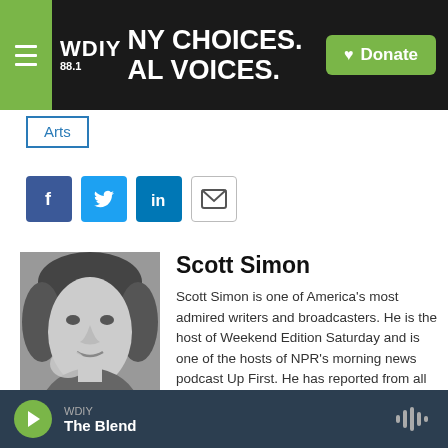WDIY 88.1 — NY CHOICES. ALL VOICES. | Donate
Arts
[Figure (other): Social share buttons: Facebook, Twitter, LinkedIn, Email]
[Figure (photo): Black and white headshot photo of Scott Simon]
Scott Simon
Scott Simon is one of America's most admired writers and broadcasters. He is the host of Weekend Edition Saturday and is one of the hosts of NPR's morning news podcast Up First. He has reported from all fifty states, five continents, and ten wars, from El Salvador to Sarajevo to
WDIY — The Blend